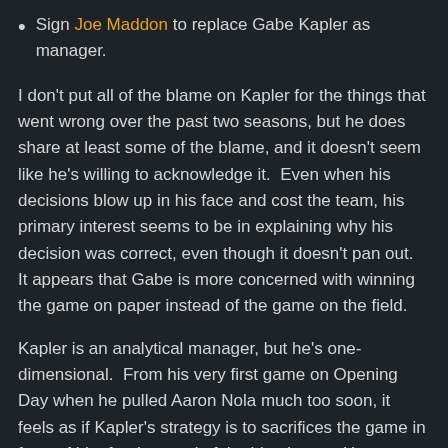Sign Joe Maddon to replace Gabe Kapler as manager.
I don't put all of the blame on Kapler for the things that went wrong over the past two seasons, but he does share at least some of the blame, and it doesn't seem like he's willing to acknowledge it.  Even when his decisions blow up in his face and cost the team, his primary interest seems to be in explaining why his decision was correct, even though it doesn't pan out.  It appears that Gabe is more concerned with winning the game on paper instead of the game on the field.
Kapler is an analytical manager, but he's one-dimensional.  From his very first game on Opening Day when he pulled Aaron Nola much too soon, it feels as if Kapler's strategy is to sacrifices the game in front of him for the good of the big picture.  However, over the past two